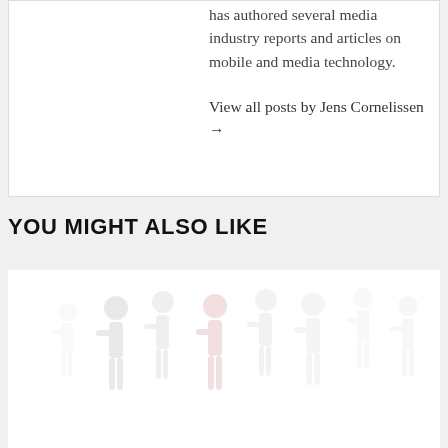has authored several media industry reports and articles on mobile and media technology.
View all posts by Jens Cornelissen →
YOU MIGHT ALSO LIKE
[Figure (illustration): Faded illustration of several people walking, shown at the bottom of the page as a preview for related articles.]